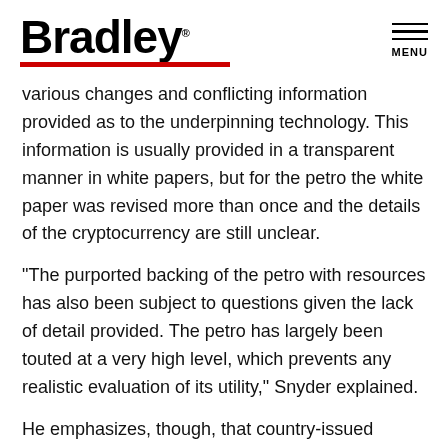Bradley MENU
various changes and conflicting information provided as to the underpinning technology. This information is usually provided in a transparent manner in white papers, but for the petro the white paper was revised more than once and the details of the cryptocurrency are still unclear.
"The purported backing of the petro with resources has also been subject to questions given the lack of detail provided. The petro has largely been touted at a very high level, which prevents any realistic evaluation of its utility," Snyder explained.
He emphasizes, though, that country-issued cryptocurrencies such as the petro and Argentina's